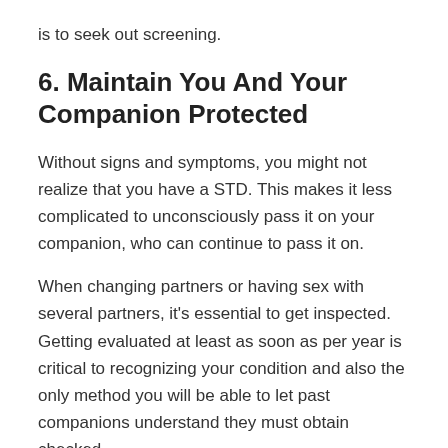is to seek out screening.
6. Maintain You And Your Companion Protected
Without signs and symptoms, you might not realize that you have a STD. This makes it less complicated to unconsciously pass it on your companion, who can continue to pass it on.
When changing partners or having sex with several partners, it's essential to get inspected. Getting evaluated at least as soon as per year is critical to recognizing your condition and also the only method you will be able to let past companions understand they must obtain checked.